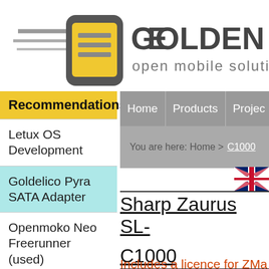[Figure (logo): Golden Delicious logo with golden device icon and speed lines, text 'GOLDEN DE' and 'open mobile solutions']
Recommendations
Letux OS Development
Goldelico Pyra SATA Adapter
Openmoko Neo Freerunner (used)
BeagleBoard PocketBeagle
Home | Products | Projec...
You are here: Home > C1000
[Figure (illustration): UK flag icon]
Sharp Zaurus SL- C1000
Includes a licence for ZMa...